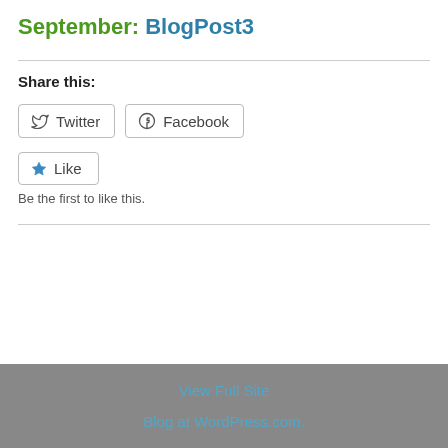September: BlogPost3
Share this:
Twitter  Facebook
Like
Be the first to like this.
View Full Site
Blog at WordPress.com.